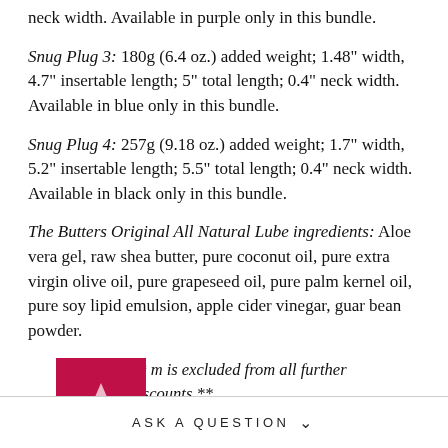neck width. Available in purple only in this bundle.
Snug Plug 3: 180g (6.4 oz.) added weight; 1.48" width, 4.7" insertable length; 5" total length; 0.4" neck width. Available in blue only in this bundle.
Snug Plug 4: 257g (9.18 oz.) added weight; 1.7" width, 5.2" insertable length; 5.5" total length; 0.4" neck width. Available in black only in this bundle.
The Butters Original All Natural Lube ingredients: Aloe vera gel, raw shea butter, pure coconut oil, pure extra virgin olive oil, pure grapeseed oil, pure palm kernel oil, pure soy lipid emulsion, apple cider vinegar, guar bean powder.
**[item] is excluded from all further discounts.**
ASK A QUESTION